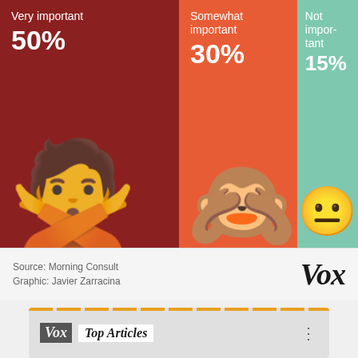[Figure (bar-chart): Importance ratings]
Source: Morning Consult
Graphic: Javier Zarracina
[Figure (screenshot): Vox Top Articles widget with dotted orange bar at top]